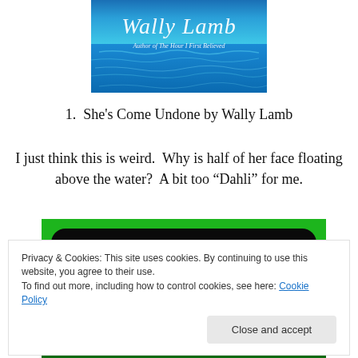[Figure (illustration): Book cover image showing 'Wally Lamb' in white cursive text and 'Author of The Hour I First Believed' on a blue water/pool background]
1.  She's Come Undone by Wally Lamb
I just think this is weird.  Why is half of her face floating above the water?  A bit too “Dahli” for me.
[Figure (photo): Partial image with bright green border and black inner area, appears to be another book cover partially visible]
Privacy & Cookies: This site uses cookies. By continuing to use this website, you agree to their use.
To find out more, including how to control cookies, see here: Cookie Policy
Close and accept